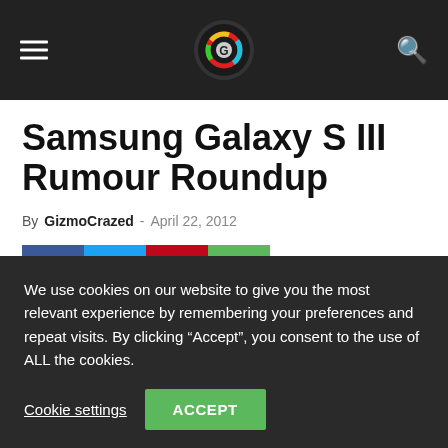GizmoCrazed
Samsung Galaxy S III Rumour Roundup
By GizmoCrazed - April 22, 2012
[Figure (infographic): Social share buttons: Facebook (blue), Twitter (light blue), Pinterest (red), WhatsApp (green)]
We use cookies on our website to give you the most relevant experience by remembering your preferences and repeat visits. By clicking “Accept”, you consent to the use of ALL the cookies.
Cookie settings   ACCEPT